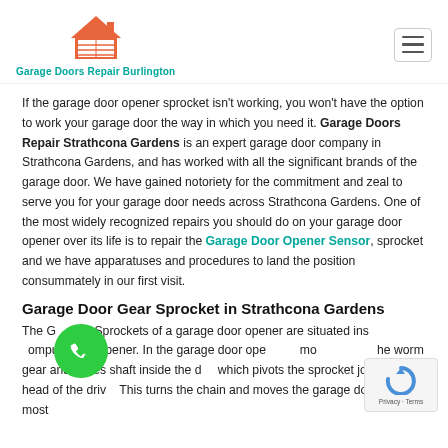Garage Doors Repair Burlington
If the garage door opener sprocket isn't working, you won't have the option to work your garage door the way in which you need it. Garage Doors Repair Strathcona Gardens is an expert garage door company in Strathcona Gardens, and has worked with all the significant brands of the garage door. We have gained notoriety for the commitment and zeal to serve you for your garage door needs across Strathcona Gardens. One of the most widely recognized repairs you should do on your garage door opener over its life is to repair the Garage Door Opener Sensor, sprocket and we have apparatuses and procedures to land the position consummately in our first visit.
Garage Door Gear Sprocket in Strathcona Gardens
The Gears & Sprockets of a garage door opener are situated inside the computerized opener. In the garage door opener, a motor moves the worm gear and drives shaft inside the opener which pivots the sprocket joined to the head of the drive. This turns the chain and moves the garage door. The most